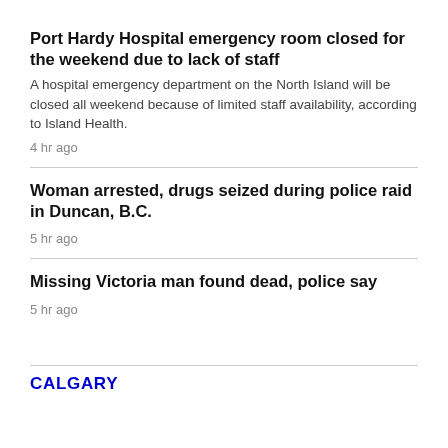Port Hardy Hospital emergency room closed for the weekend due to lack of staff
A hospital emergency department on the North Island will be closed all weekend because of limited staff availability, according to Island Health.
4 hr ago
Woman arrested, drugs seized during police raid in Duncan, B.C.
5 hr ago
Missing Victoria man found dead, police say
5 hr ago
CALGARY